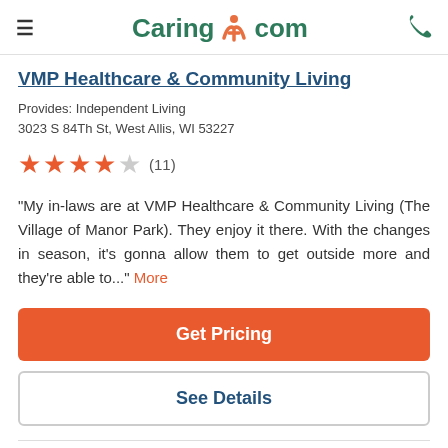≡  Caring.com  ☎
VMP Healthcare & Community Living
Provides: Independent Living
3023 S 84Th St, West Allis, WI 53227
★★★★☆ (11)
"My in-laws are at VMP Healthcare & Community Living (The Village of Manor Park). They enjoy it there. With the changes in season, it's gonna allow them to get outside more and they're able to..." More
Get Pricing
See Details